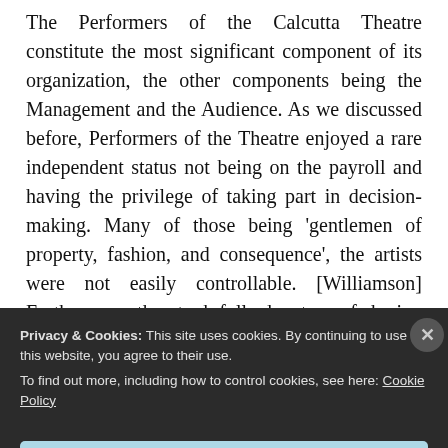The Performers of the Calcutta Theatre constitute the most significant component of its organization, the other components being the Management and the Audience. As we discussed before, Performers of the Theatre enjoyed a rare independent status not being on the payroll and having the privilege of taking part in decision-making. Many of those being 'gentlemen of property, fashion, and consequence', the artists were not easily controllable. [Williamson] Furthermore, they took full advantage of sharing space and
Privacy & Cookies: This site uses cookies. By continuing to use this website, you agree to their use. To find out more, including how to control cookies, see here: Cookie Policy
Close and accept